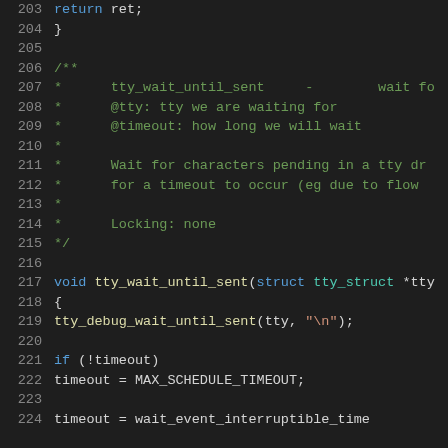Source code listing, lines 203-224, C language code showing tty_wait_until_sent function and preceding comment block